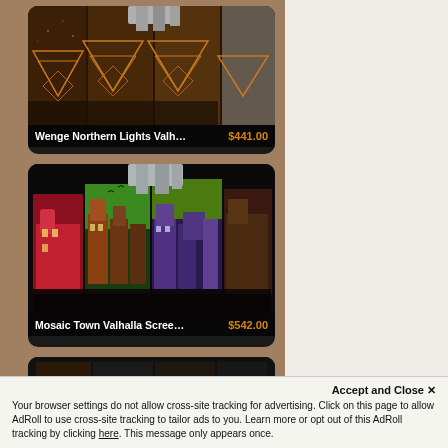[Figure (photo): Product listing card showing wooden Wenge Northern Lights Valhalla Screen with mountain/geometric pattern, price $441.00]
[Figure (photo): Product listing card showing Mosaic Town Valhalla Screen & Shelf with colorful illustrated town scene, price $542.00]
[Figure (photo): Partial product listing card, third item partially visible]
Accept and Close ×
Your browser settings do not allow cross-site tracking for advertising. Click on this page to allow AdRoll to use cross-site tracking to tailor ads to you. Learn more or opt out of this AdRoll tracking by clicking here. This message only appears once.